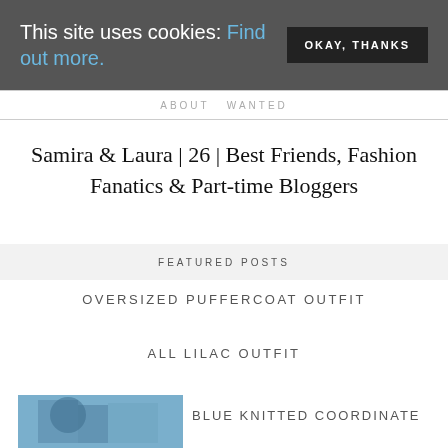This site uses cookies: Find out more. OKAY, THANKS
ABOUT WANTED
Samira & Laura | 26 | Best Friends, Fashion Fanatics & Part-time Bloggers
FEATURED POSTS
OVERSIZED PUFFERCOAT OUTFIT
ALL LILAC OUTFIT
[Figure (photo): Fashion blog photo showing person in blue knitted outfit outdoors]
BLUE KNITTED COORDINATE